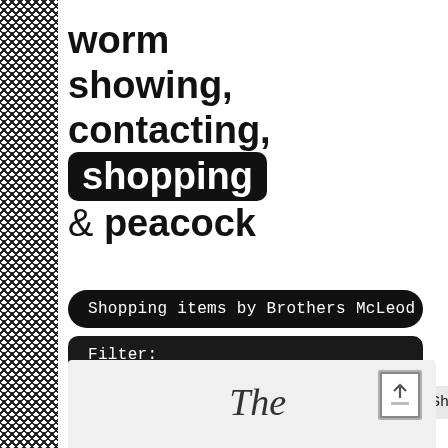worm
showing, contacting,
shopping
& peacock
Shopping items by Brothers McLeod
Filter:
Collections
Years
Artists
Show all
[Figure (screenshot): Partial preview of a product card showing handwritten text 'The' on a light gray background, with an upload/share button in the top right corner.]